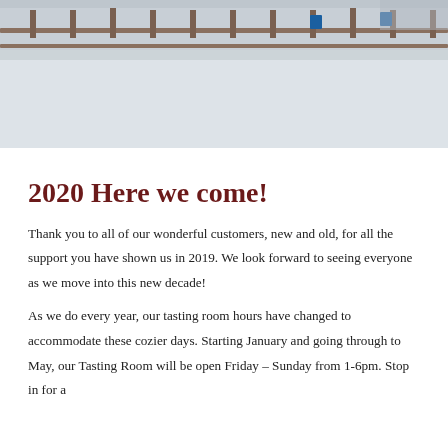[Figure (photo): Winter exterior photo of a building or tasting room covered in snow, with wooden fence railing visible at the top, snow on the ground, overcast sky]
2020 Here we come!
Thank you to all of our wonderful customers, new and old, for all the support you have shown us in 2019. We look forward to seeing everyone as we move into this new decade!
As we do every year, our tasting room hours have changed to accommodate these cozier days. Starting January and going through to May, our Tasting Room will be open Friday – Sunday from 1-6pm. Stop in for a